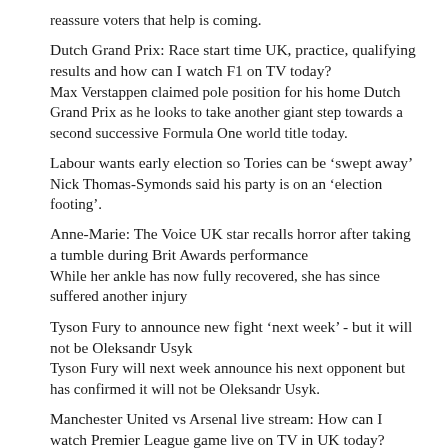reassure voters that help is coming.
Dutch Grand Prix: Race start time UK, practice, qualifying results and how can I watch F1 on TV today?
Max Verstappen claimed pole position for his home Dutch Grand Prix as he looks to take another giant step towards a second successive Formula One world title today.
Labour wants early election so Tories can be ‘swept away’
Nick Thomas-Symonds said his party is on an ‘election footing’.
Anne-Marie: The Voice UK star recalls horror after taking a tumble during Brit Awards performance
While her ankle has now fully recovered, she has since suffered another injury
Tyson Fury to announce new fight ‘next week’ - but it will not be Oleksandr Usyk
Tyson Fury will next week announce his next opponent but has confirmed it will not be Oleksandr Usyk.
Manchester United vs Arsenal live stream: How can I watch Premier League game live on TV in UK today?
Arsenal meet Manchester United at Old Trafford today in a heavyweight Premier League clash.